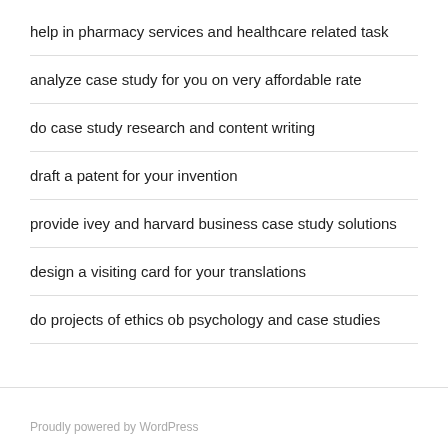help in pharmacy services and healthcare related task
analyze case study for you on very affordable rate
do case study research and content writing
draft a patent for your invention
provide ivey and harvard business case study solutions
design a visiting card for your translations
do projects of ethics ob psychology and case studies
Proudly powered by WordPress